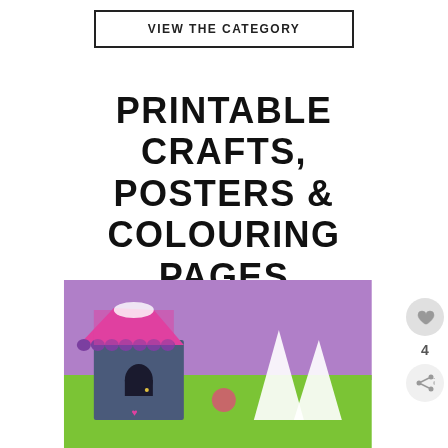VIEW THE CATEGORY
PRINTABLE CRAFTS, POSTERS & COLOURING PAGES
FIRE UP THE PRINTER
[Figure (photo): Colorful paper craft birdhouses and gnome hat decorations on a green and purple background]
4